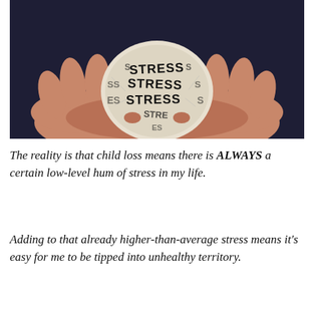[Figure (photo): Hands cupping a crumpled ball of paper with the word STRESS printed repeatedly on it, against a dark navy background. Text visible at top reads 'a low-level hum of background stress every day.']
The reality is that child loss means there is ALWAYS a certain low-level hum of stress in my life.
Adding to that already higher-than-average stress means it's easy for me to be tipped into unhealthy territory.